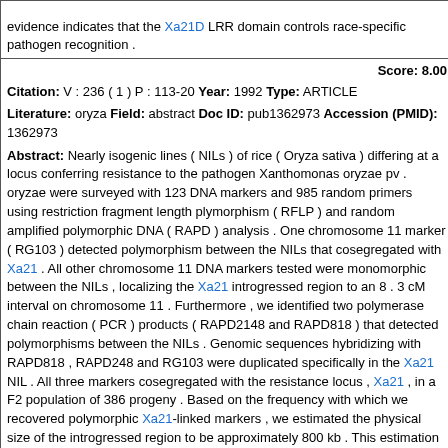evidence indicates that the Xa21D LRR domain controls race-specific pathogen recognition .
Score: 8.00
Citation: V : 236 ( 1 ) P : 113-20 Year: 1992 Type: ARTICLE
Literature: oryza Field: abstract Doc ID: pub1362973 Accession (PMID): 1362973
Abstract: Nearly isogenic lines ( NILs ) of rice ( Oryza sativa ) differing at a locus conferring resistance to the pathogen Xanthomonas oryzae pv . oryzae were surveyed with 123 DNA markers and 985 random primers using restriction fragment length plymorphism ( RFLP ) and random amplified polymorphic DNA ( RAPD ) analysis . One chromosome 11 marker ( RG103 ) detected polymorphism between the NILs that cosegregated with Xa21 . All other chromosome 11 DNA markers tested were monomorphic between the NILs , localizing the Xa21 introgressed region to an 8 . 3 cM interval on chromosome 11 . Furthermore , we identified two polymerase chain reaction ( PCR ) products ( RAPD2148 and RAPD818 ) that detected polymorphisms between the NILs . Genomic sequences hybridizing with RAPD818 , RAPD248 and RG103 were duplicated specifically in the Xa21 NIL . All three markers cosegregated with the resistance locus , Xa21 , in a F2 population of 386 progeny . Based on the frequency with which we recovered polymorphic Xa21-linked markers , we estimated the physical size of the introgressed region to be approximately 800 kb . This estimation was supported by physical mapping ( using pulsed field gel electrophoresis ) of the sequences hybridizing with the three Xa21-linked DNA markers . The results showed that the three Xa21-linked markers are physically close to each other , with one copy of the RAPD818 sequences located within 60 kb of RAPD248 and the other copy within 270 kb of RG103 . None of the sequences tested on several DNA fragments that hybridize with all